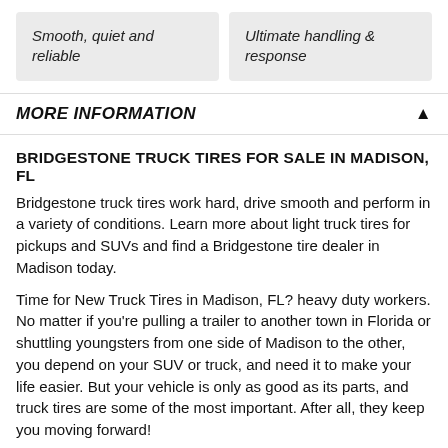Smooth, quiet and reliable
Ultimate handling & response
MORE INFORMATION
BRIDGESTONE TRUCK TIRES FOR SALE IN MADISON, FL
Bridgestone truck tires work hard, drive smooth and perform in a variety of conditions. Learn more about light truck tires for pickups and SUVs and find a Bridgestone tire dealer in Madison today.
Time for New Truck Tires in Madison, FL? heavy duty workers. No matter if you're pulling a trailer to another town in Florida or shuttling youngsters from one side of Madison to the other, you depend on your SUV or truck, and need it to make your life easier. But your vehicle is only as good as its parts, and truck tires are some of the most important. After all, they keep you moving forward!